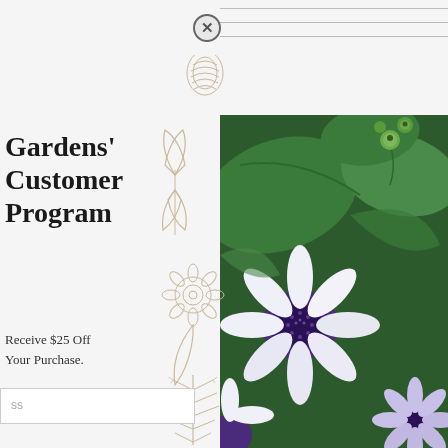Gardens' Customer Program
Receive $25 Off Your Purchase.
[Figure (illustration): Botanical floral line drawing illustration in beige/tan tones showing various flowers, leaves, and pine branches in center strip]
[Figure (photo): Close-up photograph of white and purple daisy/osteospermum flowers with green leaves and buds in background]
ss (placeholder text in input field)